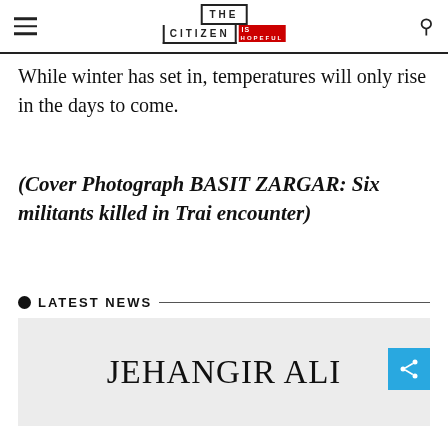THE CITIZEN IS HOPEFUL
While winter has set in, temperatures will only rise in the days to come.
(Cover Photograph BASIT ZARGAR: Six militants killed in Trai encounter)
LATEST NEWS
JEHANGIR ALI